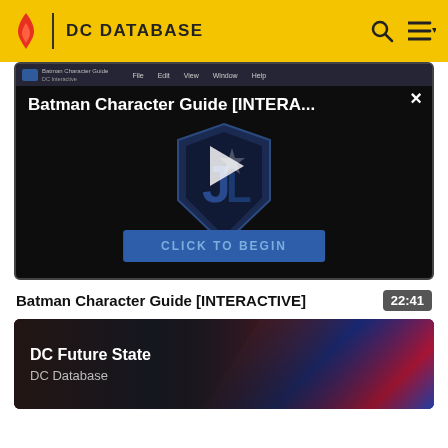DC DATABASE
[Figure (screenshot): Video player showing Batman Character Guide [INTERA...] with Justice League shield logo, play button, and 'CLICK TO BEGIN' button on dark background with close button (×)]
Batman Character Guide [INTERACTIVE]
22:41
[Figure (screenshot): DC Future State card with Superman and Harley Quinn artwork on right side, 'DC Future State' title and 'DC Database' subtitle on left]
DC Future State
DC Database